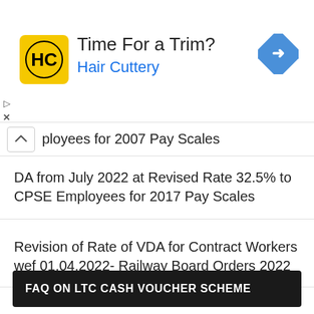[Figure (other): Hair Cuttery advertisement banner with logo, 'Time For a Trim?' headline, 'Hair Cuttery' subheading, and navigation arrow icon]
…ployees for 2007 Pay Scales
DA from July 2022 at Revised Rate 32.5% to CPSE Employees for 2017 Pay Scales
Revision of Rate of VDA for Contract Workers wef 01.04.2022- Railway Board Orders 2022
FAQ ON LTC CASH VOUCHER SCHEME